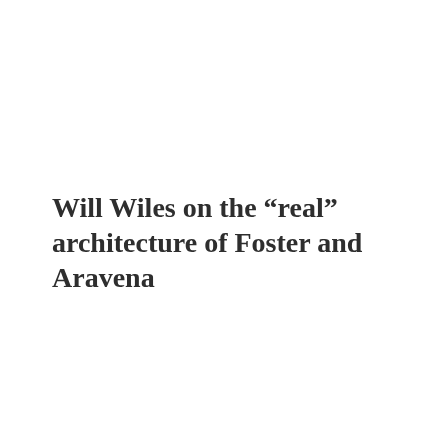Will Wiles on the “real” architecture of Foster and Aravena